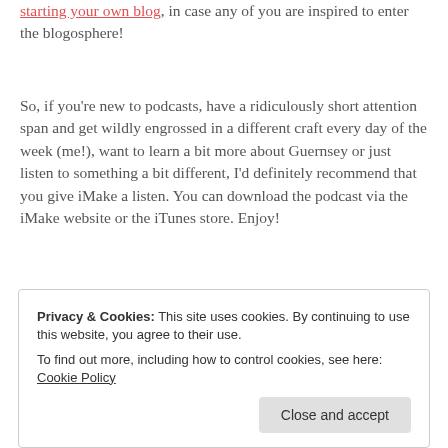starting your own blog, in case any of you are inspired to enter the blogosphere!
So, if you're new to podcasts, have a ridiculously short attention span and get wildly engrossed in a different craft every day of the week (me!), want to learn a bit more about Guernsey or just listen to something a bit different, I'd definitely recommend that you give iMake a listen. You can download the podcast via the iMake website or the iTunes store. Enjoy!
Privacy & Cookies: This site uses cookies. By continuing to use this website, you agree to their use. To find out more, including how to control cookies, see here: Cookie Policy
Close and accept